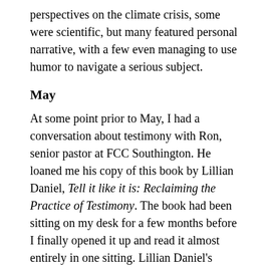perspectives on the climate crisis, some were scientific, but many featured personal narrative, with a few even managing to use humor to navigate a serious subject.
May
At some point prior to May, I had a conversation about testimony with Ron, senior pastor at FCC Southington. He loaned me his copy of this book by Lillian Daniel, Tell it like it is: Reclaiming the Practice of Testimony. The book had been sitting on my desk for a few months before I finally opened it up and read it almost entirely in one sitting. Lillian Daniel’s writing is easy to read and well organized. She is a very good storyteller and researcher. My own interest in this book extended